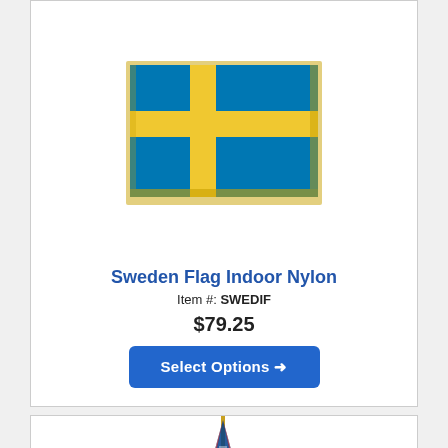[Figure (illustration): Swedish flag indoor nylon with gold fringe on three sides, blue background with yellow cross]
Sweden Flag Indoor Nylon
Item #: SWEDIF
$79.25
Select Options →
[Figure (photo): A flag on a pole, partially visible from the top, appears to be UK-related flag (Union Jack visible)]